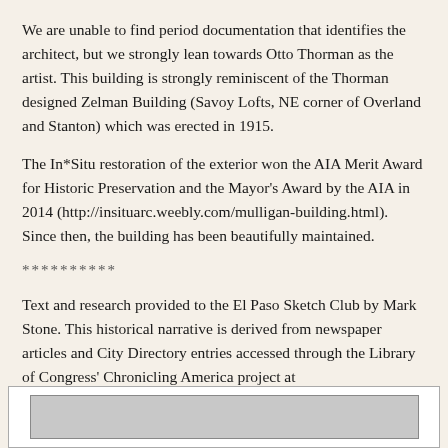We are unable to find period documentation that identifies the architect, but we strongly lean towards Otto Thorman as the artist. This building is strongly reminiscent of the Thorman designed Zelman Building (Savoy Lofts, NE corner of Overland and Stanton) which was erected in 1915.
The In*Situ restoration of the exterior won the AIA Merit Award for Historic Preservation and the Mayor's Award by the AIA in 2014 (http://insituarc.weebly.com/mulligan-building.html). Since then, the building has been beautifully maintained.
**********
Text and research provided to the El Paso Sketch Club by Mark Stone. This historical narrative is derived from newspaper articles and City Directory entries accessed through the Library of Congress' Chronicling America project at https://chroniclingamerica.loc.gov/ and the University of North Texas (Denton) Digital Archives at https://texashistory.unt.edu/
[Figure (photo): Partial view of a photograph or image, shown at the bottom of the page inside a white bordered box.]